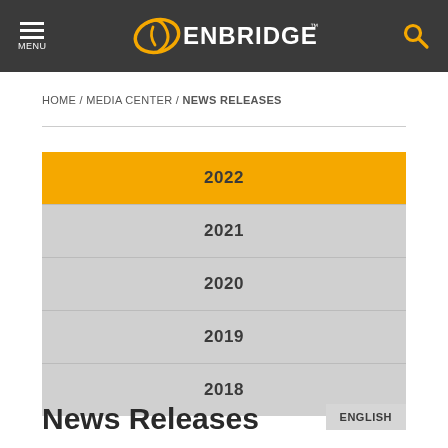MENU | ENBRIDGE | [search icon]
HOME / MEDIA CENTER / NEWS RELEASES
2022
2021
2020
2019
2018
News Releases
ENGLISH